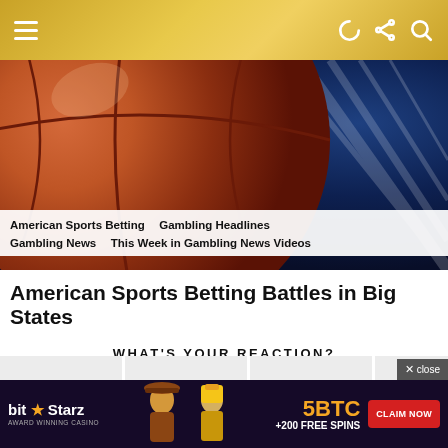≡  ☽ ⋮ ○
[Figure (photo): Close-up of an orange basketball against a dark blue court background with light rays]
American Sports Betting  Gambling Headlines  Gambling News  This Week in Gambling News Videos
American Sports Betting Battles in Big States
WHAT'S YOUR REACTION?
[Figure (illustration): Four emoji reaction icons: angry face, crying face, kissing face with heart, laughing face]
[Figure (other): BitStarz casino advertisement banner: 5BTC +200 FREE SPINS, CLAIM NOW button with cowboy and pharaoh figures]